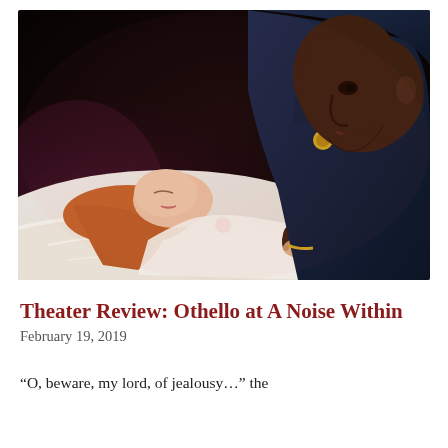[Figure (photo): Theater production photo showing a man in a military dress uniform (dark navy blue with colorful medals and insignia) leaning over a woman lying on a white bedsheet, holding her hand. The man appears to be Othello and the woman Desdemona in a production of Shakespeare's Othello. The background is dark/black stage lighting.]
Theater Review: Othello at A Noise Within
February 19, 2019
“O, beware, my lord, of jealousy…” the